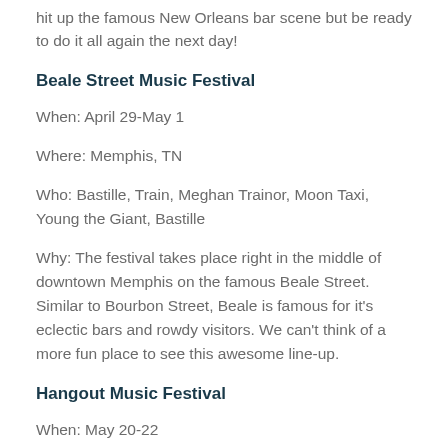hit up the famous New Orleans bar scene but be ready to do it all again the next day!
Beale Street Music Festival
When: April 29-May 1
Where: Memphis, TN
Who: Bastille, Train, Meghan Trainor, Moon Taxi, Young the Giant, Bastille
Why: The festival takes place right in the middle of downtown Memphis on the famous Beale Street. Similar to Bourbon Street, Beale is famous for it's eclectic bars and rowdy visitors. We can't think of a more fun place to see this awesome line-up.
Hangout Music Festival
When: May 20-22
Where: Gulf Shores, AL
Who: The Weekend, Calvin Harris, Florence and the Machine, Alabama Shakes, Ellie Goulding, Flo...